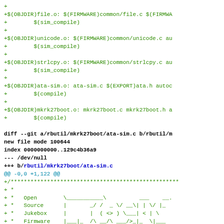Makefile diff/patch code showing added build rules and git diff header for ata-sim.c, including ASCII art Rockbox logo